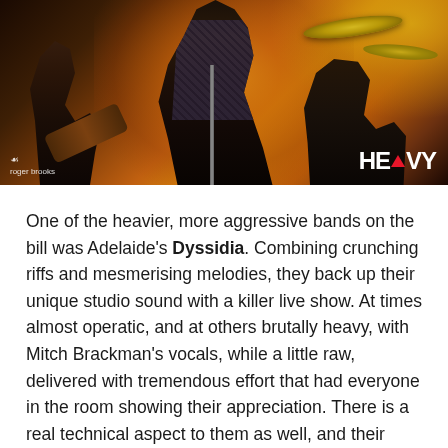[Figure (photo): Concert photo of a band performing on stage bathed in orange/amber stage lighting. Center figure is the vocalist in a plaid vest, arms raised with microphone. Left figure plays guitar. Right figure is at the drum kit with visible cymbals. Photo credit reads 'roger brooks' with a small logo in bottom-left. HEAVY magazine logo in bottom-right.]
One of the heavier, more aggressive bands on the bill was Adelaide's Dyssidia. Combining crunching riffs and mesmerising melodies, they back up their unique studio sound with a killer live show. At times almost operatic, and at others brutally heavy, with Mitch Brackman's vocals, while a little raw, delivered with tremendous effort that had everyone in the room showing their appreciation. There is a real technical aspect to them as well, and their menacing sound is